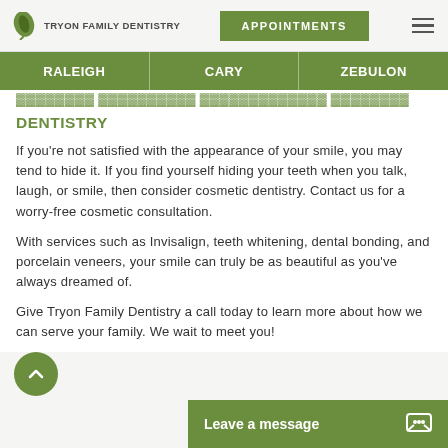TRYON FAMILY DENTISTRY | APPOINTMENTS
RALEIGH | CARY | ZEBULON
DENTISTRY
If you're not satisfied with the appearance of your smile, you may tend to hide it. If you find yourself hiding your teeth when you talk, laugh, or smile, then consider cosmetic dentistry. Contact us for a worry-free cosmetic consultation.
With services such as Invisalign, teeth whitening, dental bonding, and porcelain veneers, your smile can truly be as beautiful as you've always dreamed of.
Give Tryon Family Dentistry a call today to learn more about how we can serve your family. We wait to meet you!